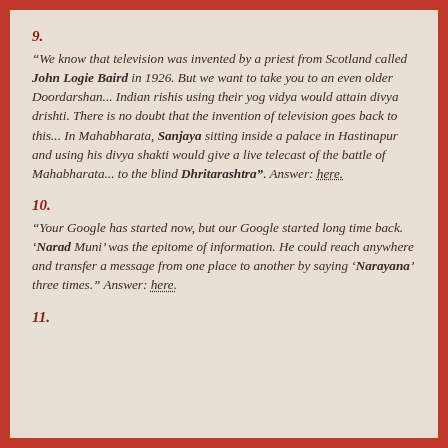9.
“We know that television was invented by a priest from Scotland called John Logie Baird in 1926. But we want to take you to an even older Doordarshan... Indian rishis using their yog vidya would attain divya drishti. There is no doubt that the invention of television goes back to this... In Mahabharata, Sanjaya sitting inside a palace in Hastinapur and using his divya shakti would give a live telecast of the battle of Mahabharata... to the blind Dhritarashtra”. Answer: here.
10.
“Your Google has started now, but our Google started long time back. ‘Narad Muni’ was the epitome of information. He could reach anywhere and transfer a message from one place to another by saying ‘Narayana’ three times.” Answer: here.
11.